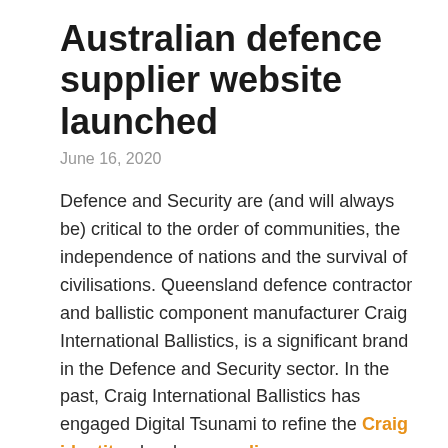Australian defence supplier website launched
June 16, 2020
Defence and Security are (and will always be) critical to the order of communities, the independence of nations and the survival of civilisations. Queensland defence contractor and ballistic component manufacturer Craig International Ballistics, is a significant brand in the Defence and Security sector. In the past, Craig International Ballistics has engaged Digital Tsunami to refine the Craig identity, develop an online presence, design print collaterals, and shoot photography and video. For the second time, Digital Tsunami has been commissioned to develop a new Craig web